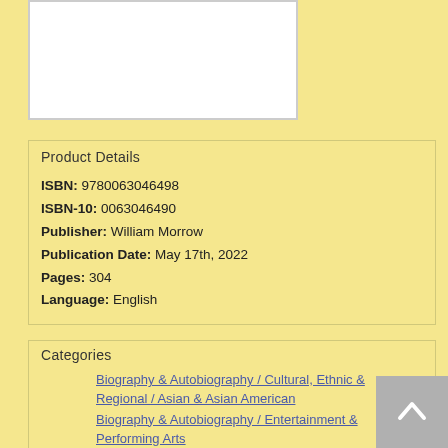[Figure (other): Book cover image placeholder (white rectangle with border)]
Product Details
ISBN: 9780063046498
ISBN-10: 0063046490
Publisher: William Morrow
Publication Date: May 17th, 2022
Pages: 304
Language: English
Categories
Biography & Autobiography / Cultural, Ethnic & Regional / Asian & Asian American
Biography & Autobiography / Entertainment & Performing Arts
Biography & Autobiography / Personal Memoirs